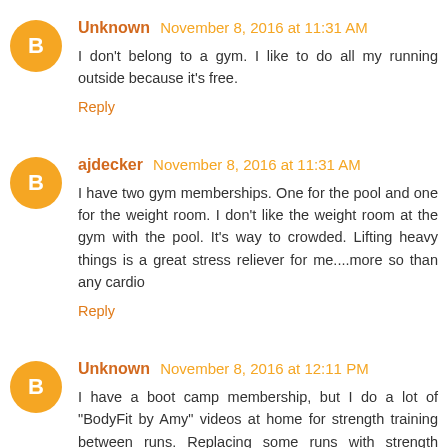Unknown November 8, 2016 at 11:31 AM
I don't belong to a gym. I like to do all my running outside because it's free.
Reply
ajdecker November 8, 2016 at 11:31 AM
I have two gym memberships. One for the pool and one for the weight room. I don't like the weight room at the gym with the pool. It's way to crowded. Lifting heavy things is a great stress reliever for me....more so than any cardio
Reply
Unknown November 8, 2016 at 12:11 PM
I have a boot camp membership, but I do a lot of "BodyFit by Amy" videos at home for strength training between runs. Replacing some runs with strength workouts got me out of my "only running" rut.